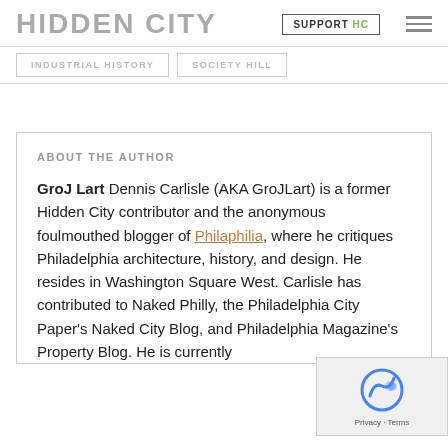HIDDEN CITY
INDUSTRIAL HISTORY
SOCIETY HILL
ABOUT THE AUTHOR
GroJ Lart Dennis Carlisle (AKA GroJLart) is a former Hidden City contributor and the anonymous foulmouthed blogger of Philaphilia, where he critiques Philadelphia architecture, history, and design. He resides in Washington Square West. Carlisle has contributed to Naked Philly, the Philadelphia City Paper's Naked City Blog, and Philadelphia Magazine's Property Blog. He is currently